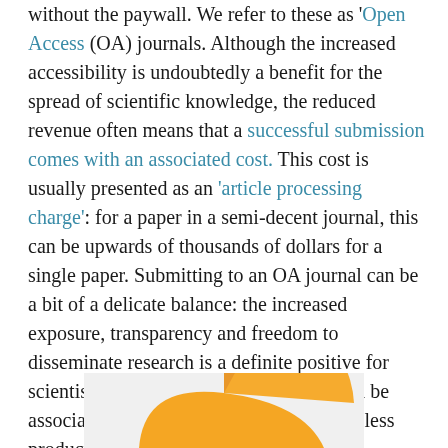without the paywall. We refer to these as 'Open Access' (OA) journals. Although the increased accessibility is undoubtedly a benefit for the spread of scientific knowledge, the reduced revenue often means that a successful submission comes with an associated cost. This cost is usually presented as an 'article processing charge': for a paper in a semi-decent journal, this can be upwards of thousands of dollars for a single paper. Submitting to an OA journal can be a bit of a delicate balance: the increased exposure, transparency and freedom to disseminate research is a definite positive for scientists, but the exorbitant costs that can be associated with OA journals can preclude less productive or financially robust labs from publishing in them (regardless of the quality of science produced).
[Figure (illustration): Partial view of an orange pie or donut chart segment on a light grey background, cropped at the bottom of the page.]